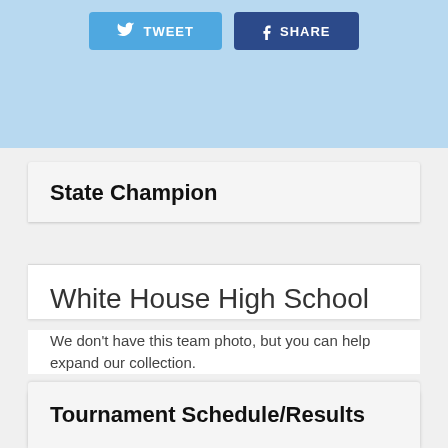[Figure (screenshot): Top banner with light blue background containing Tweet and Share buttons]
State Champion
White House High School
We don't have this team photo, but you can help expand our collection.
SUBMIT TEAM PHOTO
Tournament Schedule/Results